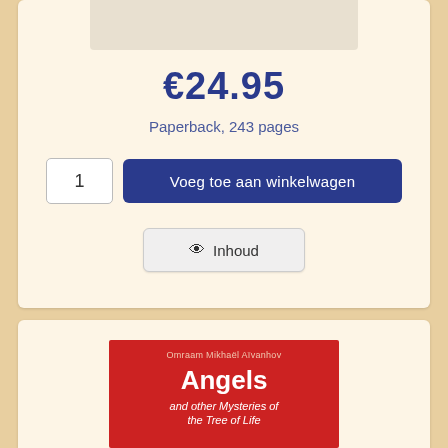€24.95
Paperback, 243 pages
1
Voeg toe aan winkelwagen
👁 Inhoud
[Figure (illustration): Red book cover titled 'Angels and other Mysteries of the Tree of Life' by Omraam Mikhaël Aïvanhov]